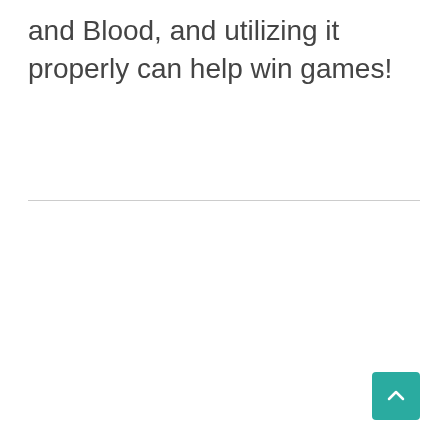and Blood, and utilizing it properly can help win games!
[Figure (other): Back to top button — teal/green rounded square with an upward-pointing chevron arrow icon]